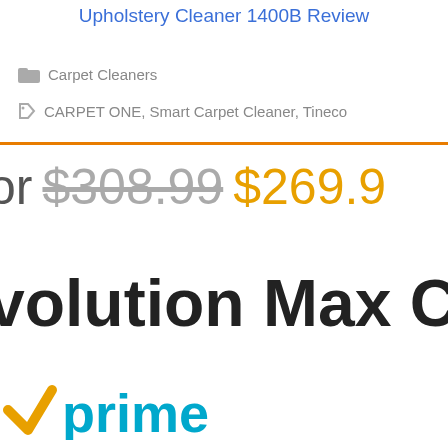Upholstery Cleaner 1400B Review
Carpet Cleaners
CARPET ONE, Smart Carpet Cleaner, Tineco
or $308.99 $269.9
volution Max Clea
[Figure (logo): Amazon Prime logo with orange checkmark and cyan 'prime' text]